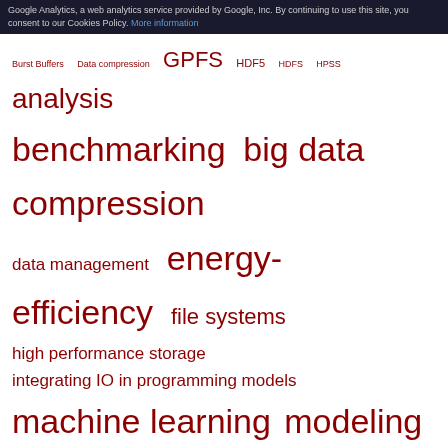Google Analytics, a web analytics service provided by Google, Inc. By continuing to use this site, you consent to our Cookies Policy. More information
[Figure (infographic): Tag cloud with terms: Burst Buffers, Data compression, GPFS, HDF5, HDFS, HPSS, analysis, benchmarking, big data, compression, data management, energy-efficiency, file systems, high performance storage, integrating IO in programming models, machine learning, modeling, monitoring, simulation, virtualization — in red, varying font sizes]
Layers tag cloud
[Figure (infographic): Tag cloud with terms: ADIOS, Burst Buffer, Burst Buffers, FUSE, GPFS, HDD., HDF5, HDFS, Lustre, MPI-IO, MPIIO, NVRAM, NetCDF4, NoSQL DB, PVFS2, SSD, block device, cloud, file systems, middleware — in red, varying font sizes]
Nationality tag cloud
[Figure (infographic): Tag cloud with nationality codes: CH, DE, ES, FR, GR, SA, UK, US, USA — in red, varying font sizes]
Products tag cloud